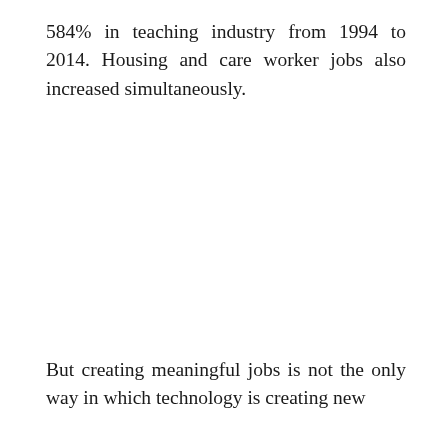584% in teaching industry from 1994 to 2014. Housing and care worker jobs also increased simultaneously.
But creating meaningful jobs is not the only way in which technology is creating new